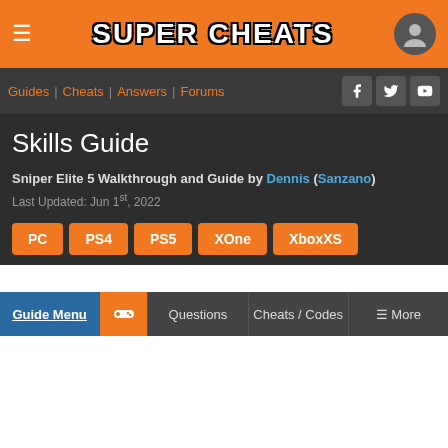SUPER CHEATS
Guides | Cheats | Answers | Forums
Skills Guide
Sniper Elite 5 Walkthrough and Guide by Dennis (Sanzano)
Last Updated: Jun 1st, 2022
PC
PS4
PS5
XOne
XboxXS
Guide Menu | Questions | Cheats / Codes | More